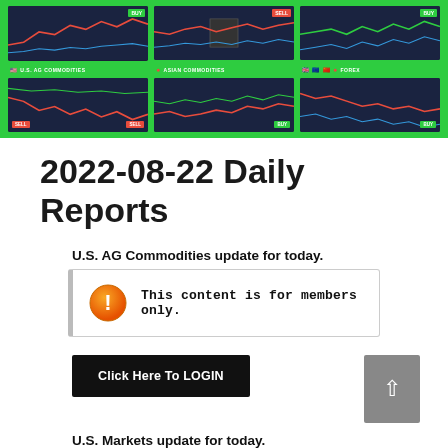[Figure (screenshot): Green banner with 3x2 grid of trading chart panels showing U.S. AG Commodities, Asian Commodities, and Forex charts with buy/sell signals.]
2022-08-22 Daily Reports
U.S. AG Commodities update for today.
This content is for members only.
Click Here To LOGIN
U.S. Markets update for today.